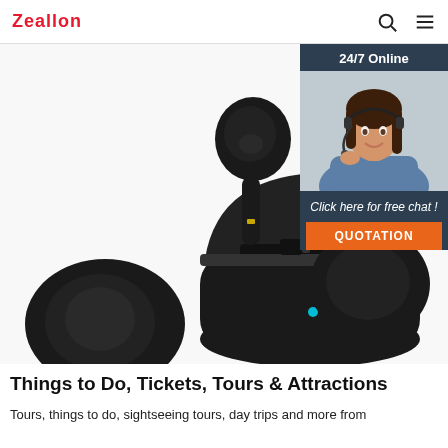Zeallon
[Figure (photo): Black wireless earbuds with open charging case, product photo on white background]
[Figure (infographic): 24/7 Online customer support ad overlay with woman wearing headset. Text: '24/7 Online', 'Click here for free chat !', 'QUOTATION' button in orange]
Things to Do, Tickets, Tours & Attractions
Tours, things to do, sightseeing tours, day trips and more from